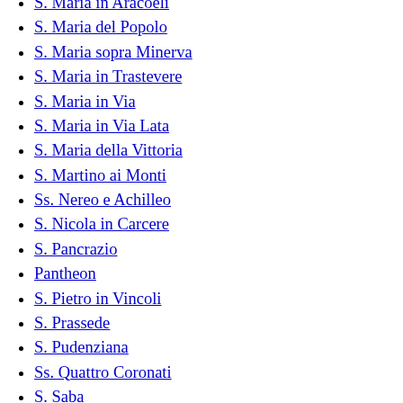S. Maria in Aracoeli
S. Maria del Popolo
S. Maria sopra Minerva
S. Maria in Trastevere
S. Maria in Via
S. Maria in Via Lata
S. Maria della Vittoria
S. Martino ai Monti
Ss. Nereo e Achilleo
S. Nicola in Carcere
S. Pancrazio
Pantheon
S. Pietro in Vincoli
S. Prassede
S. Pudenziana
Ss. Quattro Coronati
S. Saba
S. Sabina
Sacro Cuore di Maria
Sacro Cuore di Cristo Re
Sacro Cuore di Gesù a Castro Pretorio
S. Sebastiano fuori le mura
S. Silvestro in Capite
S. Sisto Vecchio
S. Sofia a Via Boccea
S. Stefano Rotondo